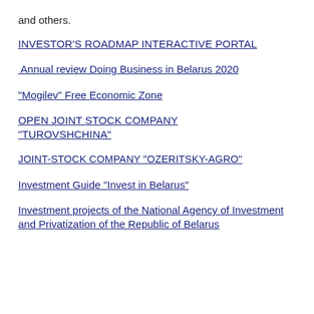and others.
INVESTOR'S ROADMAP INTERACTIVE PORTAL
Annual review Doing Business in Belarus 2020
“Mogilev” Free Economic Zone
OPEN JOINT STOCK COMPANY “TUROVSHCHINA”
JOINT-STOCK COMPANY “OZERITSKY-AGRO”
Investment Guide “Invest in Belarus”
Investment projects of the National Agency of Investment and Privatization of the Republic of Belarus